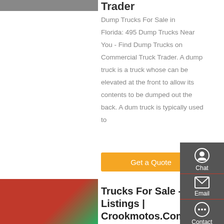[Figure (photo): Partial view of a truck/vehicle image at top left]
Trader
Dump Trucks For Sale in Florida: 495 Dump Trucks Near You - Find Dump Trucks on Commercial Truck Trader. A dump truck is a truck whose can be elevated at the front to allow its contents to be dumped out the back. A dump truck is typically used to
[Figure (other): Orange 'Get a Quote' button]
[Figure (photo): Red trucks (semi-trucks) parked in a lot]
Trucks For Sale - 4 Listings | Crookmotos.Com